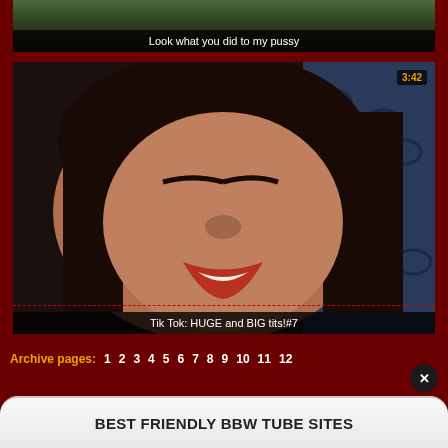[Figure (screenshot): Video thumbnail showing grass/outdoor scene with caption bar at bottom]
Look what you did to my pussy
[Figure (screenshot): Video thumbnail showing woman's face with dark hair and red lips, blue pillow in background. Duration badge shows 3:42. Red dashed line near bottom.]
Tik Tok: HUGE and BIG tits!#7
Archive pages: 1 2 3 4 5 6 7 8 9 10 11 12
BEST FRIENDLY BBW TUBE SITES